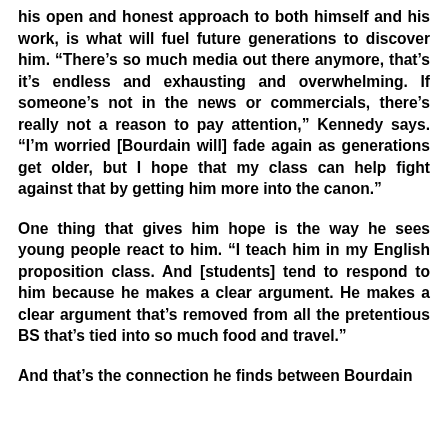his open and honest approach to both himself and his work, is what will fuel future generations to discover him. “There’s so much media out there anymore, that’s it’s endless and exhausting and overwhelming. If someone’s not in the news or commercials, there’s really not a reason to pay attention,” Kennedy says. “I’m worried [Bourdain will] fade again as generations get older, but I hope that my class can help fight against that by getting him more into the canon.”
One thing that gives him hope is the way he sees young people react to him. “I teach him in my English proposition class. And [students] tend to respond to him because he makes a clear argument. He makes a clear argument that’s removed from all the pretentious BS that’s tied into so much food and travel.”
And that’s the connection he finds between Bourdain